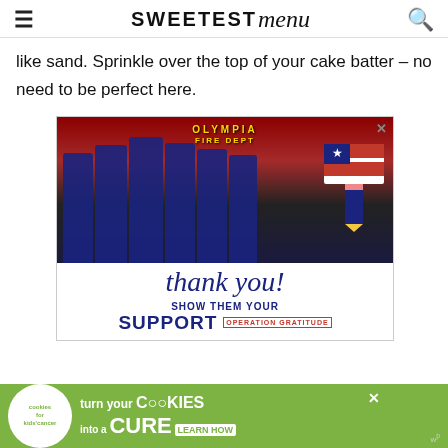SWEETEST menu
like sand. Sprinkle over the top of your cake batter – no need to be perfect here.
[Figure (photo): Advertisement for Operation Gratitude showing firefighters from Olympia Fire Department standing in front of a fire truck, holding items, with a thank you message and 'Show Them Your Support' text for Operation Gratitude, with an American flag graphic.]
[Figure (photo): Bottom banner advertisement for Cookies for Kids' Cancer: 'turn your COOKIES into a CURE LEARN HOW' on a green background with cookie logo.]